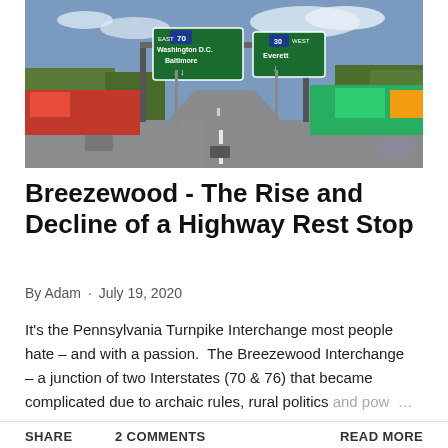[Figure (photo): Street-level photograph of Breezewood, Pennsylvania showing a multi-lane road leading into the distance with green highway signs overhead indicating Interstate 70 East toward Washington D.C. and Baltimore, and Route 30 West toward Everett. Commercial strip with fast food restaurants, gas stations, and retail signs visible on both sides of the road. Cars and trucks on the road.]
Breezewood - The Rise and Decline of a Highway Rest Stop
By Adam · July 19, 2020
It's the Pennsylvania Turnpike Interchange most people hate – and with a passion.  The Breezewood Interchange – a junction of two Interstates (70 & 76) that became complicated due to archaic rules, rural politics and pow ...
SHARE   2 COMMENTS   READ MORE